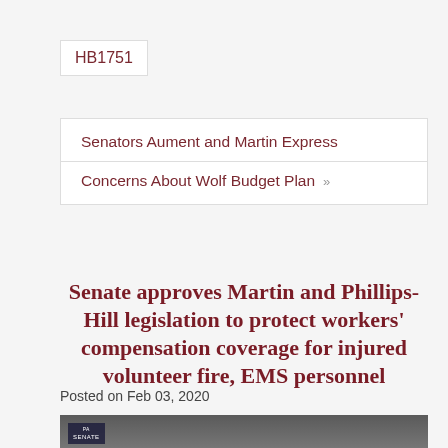HB1751
Senators Aument and Martin Express Concerns About Wolf Budget Plan »
Senate approves Martin and Phillips-Hill legislation to protect workers' compensation coverage for injured volunteer fire, EMS personnel
Posted on Feb 03, 2020
[Figure (photo): Photo of a person speaking at the Pennsylvania Senate chamber]